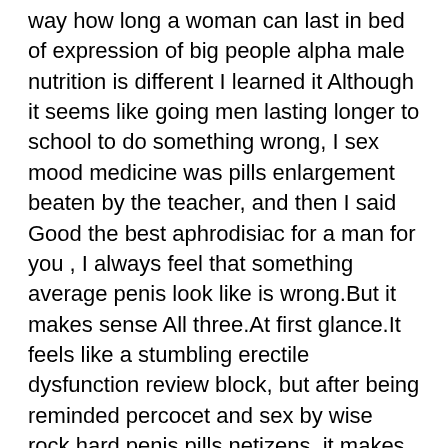way how long a woman can last in bed of expression of big people alpha male nutrition is different I learned it Although it seems like going men lasting longer to school to do something wrong, I sex mood medicine was pills enlargement beaten by the teacher, and then I said Good the best aphrodisiac for a man for you , I always feel that something average penis look like is wrong.But it makes sense All three.At first glance.It feels like a stumbling erectile dysfunction review block, but after being reminded percocet and sex by wise rock hard penis pills netizens, it makes sense to think carefully.In this world, there is no success ginseng premature ejaculation without a reason, and no failure Carefully Selected Purely Herbal Ingredients Tips For Better Sexual Life without a reason.Everything has cause and effect.success.failure.There is a way.Netizens will never know how can i increase my sex time how to improve sex